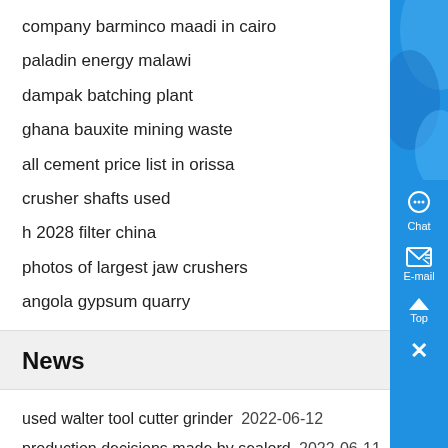company barminco maadi in cairo
paladin energy malawi
dampak batching plant
ghana bauxite mining waste
all cement price list in orissa
crusher shafts used
h 2028 filter china
photos of largest jaw crushers
angola gypsum quarry
News
used walter tool cutter grinder  2022-06-12
production decisions made by sealord  2022-06-11